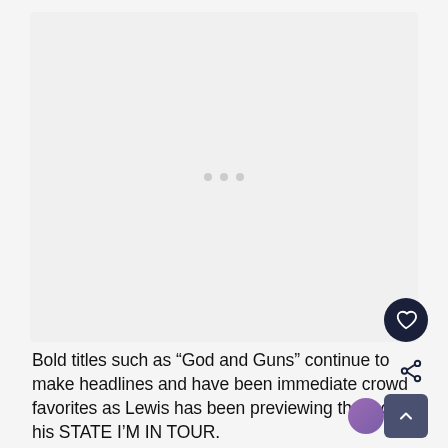[Figure (other): Loading placeholder area showing three gray dots on a light gray background]
Bold titles such as “God and Guns” continue to make headlines and have been immediate crowd favorites as Lewis has been previewing them on his STATE I’M IN TOUR.
“It’s always nice to put some new stuff in there and…